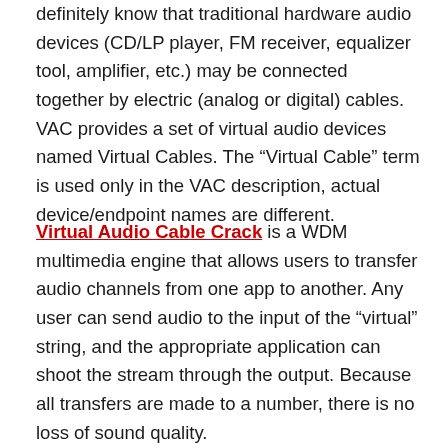definitely know that traditional hardware audio devices (CD/LP player, FM receiver, equalizer tool, amplifier, etc.) may be connected together by electric (analog or digital) cables. VAC provides a set of virtual audio devices named Virtual Cables. The “Virtual Cable” term is used only in the VAC description, actual device/endpoint names are different.
Virtual Audio Cable Crack is a WDM multimedia engine that allows users to transfer audio channels from one app to another. Any user can send audio to the input of the “virtual” string, and the appropriate application can shoot the stream through the output. Because all transfers are made to a number, there is no loss of sound quality.